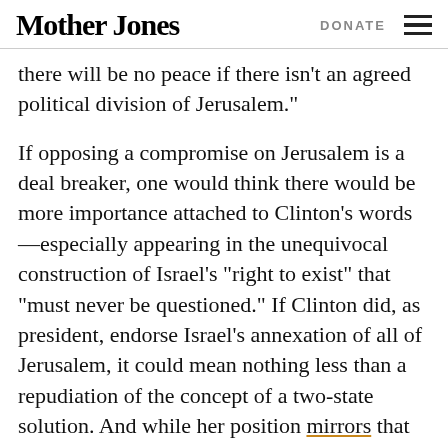Mother Jones | DONATE
there will be no peace if there isn’t an agreed political division of Jerusalem.”
If opposing a compromise on Jerusalem is a deal breaker, one would think there would be more importance attached to Clinton’s words—especially appearing in the unequivocal construction of Israel’s “right to exist” that “must never be questioned.” If Clinton did, as president, endorse Israel’s annexation of all of Jerusalem, it could mean nothing less than a repudiation of the concept of a two-state solution. And while her position mirrors that of the American Israel Public Affairs Committee (AIPAC), it actually puts her at odds